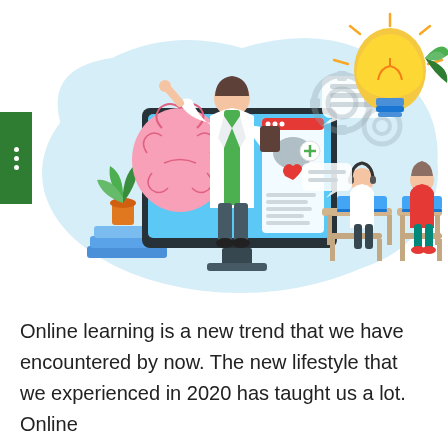[Figure (illustration): Online medical/educational learning illustration: a doctor/teacher emerging from a computer monitor presenting health content, with a brain graphic, medical UI panels, gear icons, two students at desks with laptops, a lightbulb, and a potted plant and books in the foreground. Light blue background blob shape.]
Online learning is a new trend that we have encountered by now. The new lifestyle that we experienced in 2020 has taught us a lot. Online